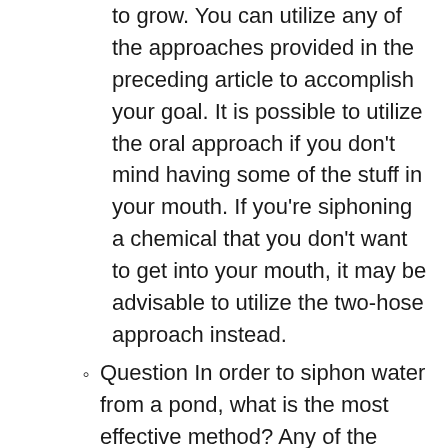to grow. You can utilize any of the approaches provided in the preceding article to accomplish your goal. It is possible to utilize the oral approach if you don't mind having some of the stuff in your mouth. If you're siphoning a chemical that you don't want to get into your mouth, it may be advisable to utilize the two-hose approach instead.
Question In order to siphon water from a pond, what is the most effective method? Any of the approaches described in the article would be effective as long as the outlet point is lower than the intake (pond) end of the tube. A garden hose (or anything comparable in breadth) will be more appropriate than small plastic tubing because you'll be dealing with a higher amount of water! If the tube is